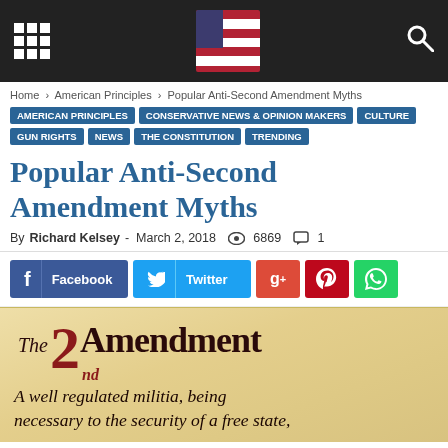[Site header with grid icon, American flag logo, and search icon]
Home › American Principles › Popular Anti-Second Amendment Myths
AMERICAN PRINCIPLES | CONSERVATIVE NEWS & OPINION MAKERS | CULTURE | GUN RIGHTS | NEWS | THE CONSTITUTION | TRENDING
Popular Anti-Second Amendment Myths
By Richard Kelsey - March 2, 2018  👁 6869  💬 1
Facebook  Twitter  G+  Pinterest  WhatsApp
[Figure (illustration): Parchment-style image reading 'The 2nd Amendment' with italic text: 'A well regulated militia, being necessary to the security of a free state,']